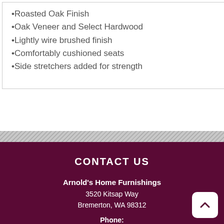•Roasted Oak Finish
•Oak Veneer and Select Hardwood
•Lightly wire brushed finish
•Comfortably cushioned seats
•Side stretchers added for strength
CONTACT US
Arnold's Home Furnishings
3520 Kitsap Way
Bremerton, WA 98312
Phone: